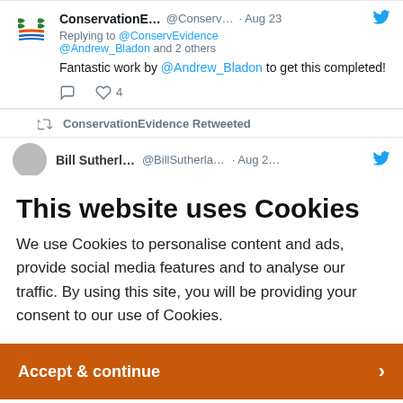[Figure (screenshot): Tweet from ConservationE... (@Conserv...) dated Aug 23. Replying to @ConservEvidence @Andrew_Bladon and 2 others. Text: Fantastic work by @Andrew_Bladon to get this completed! With like count of 4.]
ConservationEvidence Retweeted
[Figure (screenshot): Partial tweet row showing Bill Sutherland @BillSutherlan... Aug 2... with Twitter bird icon, partially visible]
This website uses Cookies
We use Cookies to personalise content and ads, provide social media features and to analyse our traffic. By using this site, you will be providing your consent to our use of Cookies.
Accept & continue